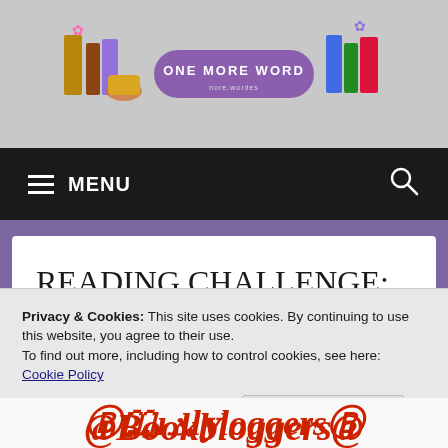[Figure (logo): One More Word blog logo banner with books, teacup and purple pill-shaped badge reading ONE MORE WORD]
≡ MENU
READING CHALLENGE: #FFRC2020 #ReadingCommunity #BookBloggers @fictionophile
Privacy & Cookies: This site uses cookies. By continuing to use this website, you agree to their use.
To find out more, including how to control cookies, see here: Cookie Policy
Close and accept
[Figure (illustration): BookBloggers stylized red text graphic at the bottom of the page]